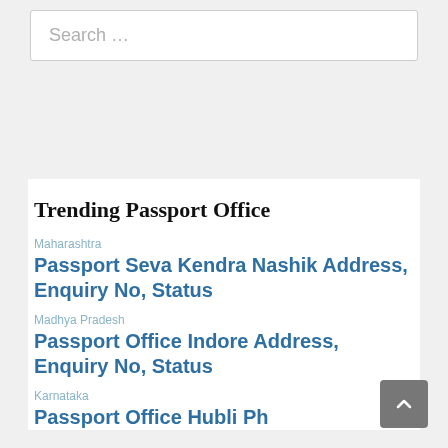Search …
Trending Passport Office
Maharashtra
Passport Seva Kendra Nashik Address, Enquiry No, Status
Madhya Pradesh
Passport Office Indore Address, Enquiry No, Status
Karnataka
Passport Office Hubli Phone and Address, Enquiry …